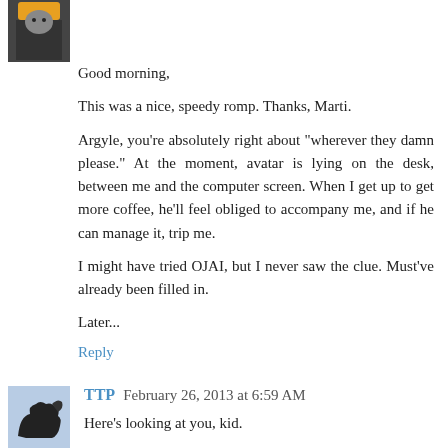Good morning,
This was a nice, speedy romp. Thanks, Marti.
Argyle, you're absolutely right about "wherever they damn please." At the moment, avatar is lying on the desk, between me and the computer screen. When I get up to get more coffee, he'll feel obliged to accompany me, and if he can manage it, trip me.
I might have tried OJAI, but I never saw the clue. Must've already been filled in.
Later...
Reply
TTP  February 26, 2013 at 6:59 AM
Here's looking at you, kid.
Thank you Marti, I liked and got the theme. Thank you Argyle.